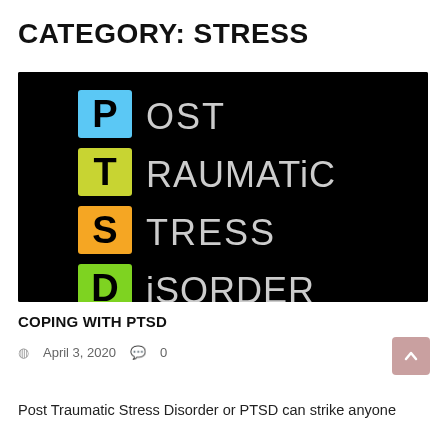CATEGORY: STRESS
[Figure (illustration): Black background image showing PTSD acronym spelled out: P (blue box) OST, T (yellow-green box) RAUMATiC, S (orange box) TRESS, D (lime green box) iSORDER — Post Traumatic Stress Disorder]
COPING WITH PTSD
April 3, 2020   0
Post Traumatic Stress Disorder or PTSD can strike anyone